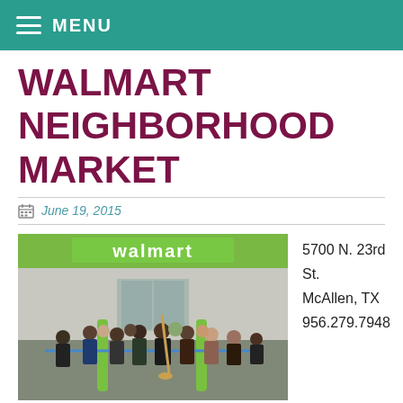MENU
WALMART NEIGHBORHOOD MARKET
June 19, 2015
[Figure (photo): Ribbon-cutting ceremony at a Walmart Neighborhood Market store in McAllen, TX. A crowd of people standing in front of the store with green bollards and a blue ribbon being cut.]
5700 N. 23rd St.
McAllen, TX
956.279.7948